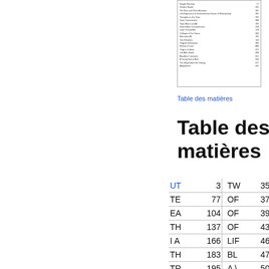[Figure (other): Thumbnail image of a table of contents page showing rows of chapter titles and page numbers in small text, with a border around it.]
Table des matières
Table des matières
| Abbr | Num | Abbr2 | Num2 |
| --- | --- | --- | --- |
| UT | 3 | TW | 355 |
| TE | 77 | OF | 375 |
| EA | 104 | OF | 398 |
| TH | 137 | OF | 431 |
| I A | 166 | LIF | 461 |
| TH | 183 | BL | 478 |
| TR | 195 | A \  | 500 |
| GI' | 219 | TH | 517 |